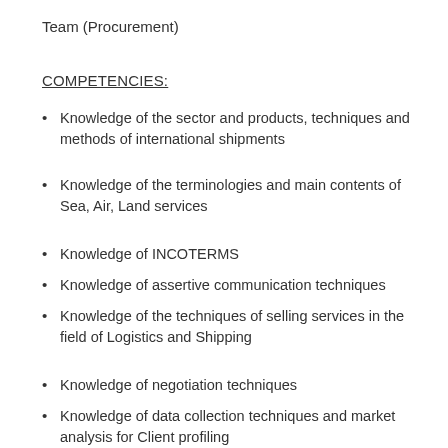Team (Procurement)
COMPETENCIES:
Knowledge of the sector and products, techniques and methods of international shipments
Knowledge of the terminologies and main contents of Sea, Air, Land services
Knowledge of INCOTERMS
Knowledge of assertive communication techniques
Knowledge of the techniques of selling services in the field of Logistics and Shipping
Knowledge of negotiation techniques
Knowledge of data collection techniques and market analysis for Client profiling